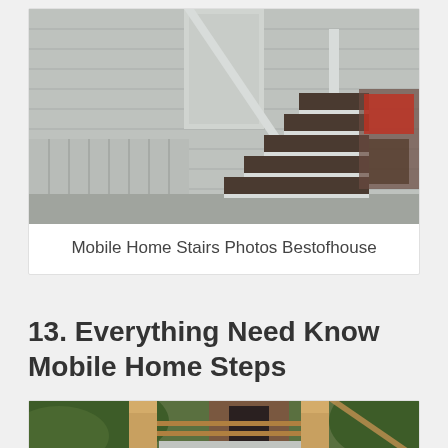[Figure (photo): Photograph of mobile home exterior stairs with white metal railings and dark brown steps against grey siding]
Mobile Home Stairs Photos Bestofhouse
13. Everything Need Know Mobile Home Steps
[Figure (photo): Photograph of wooden porch steps with natural wood railings and posts, green foliage in background]